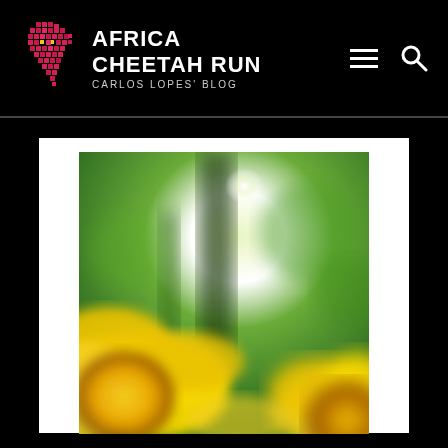[Figure (logo): Africa Cheetah Run logo — stylized pink/magenta mosaic Africa continent shape with small yellow dots, beside text 'AFRICA CHEETAH RUN' in white bold uppercase and 'CARLOS LOPES' BLOG' in grey smaller uppercase]
[Figure (photo): Blurry close-up photograph of yellow sunflowers with green bokeh background and bright white flare near the top center]